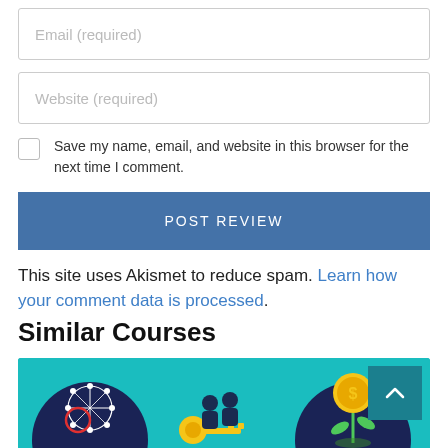Email (required)
Website (required)
Save my name, email, and website in this browser for the next time I comment.
POST REVIEW
This site uses Akismet to reduce spam. Learn how your comment data is processed.
Similar Courses
[Figure (illustration): Teal card with illustrated icons: network/globe on dark circle, people with a key, and a gold coin plant on dark circle. Scroll-to-top arrow button in top-right.]